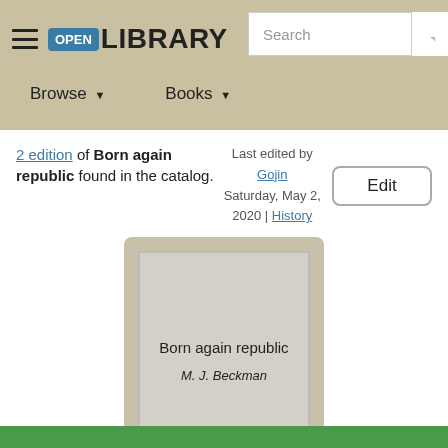OPEN LIBRARY | Search | Browse | Books
2 edition of Born again republic found in the catalog.
Last edited by Gojin
Saturday, May 2, 2020 | History
Edit
[Figure (illustration): Book cover placeholder showing title 'Born again republic' and author 'M. J. Beckman' on a grey background card]
Born again republic
M. J. Beckman